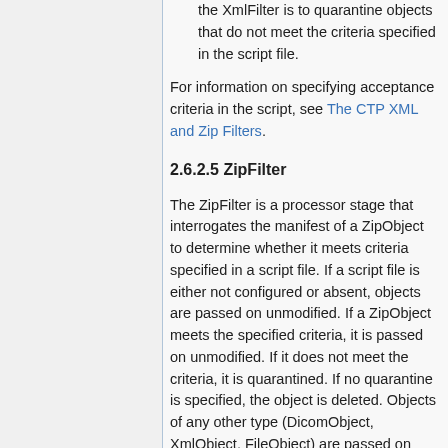the XmlFilter is to quarantine objects that do not meet the criteria specified in the script file.
For information on specifying acceptance criteria in the script, see The CTP XML and Zip Filters.
2.6.2.5 ZipFilter
The ZipFilter is a processor stage that interrogates the manifest of a ZipObject to determine whether it meets criteria specified in a script file. If a script file is either not configured or absent, objects are passed on unmodified. If a ZipObject meets the specified criteria, it is passed on unmodified. If it does not meet the criteria, it is quarantined. If no quarantine is specified, the object is deleted. Objects of any other type (DicomObject, XmlObject, FileObject) are passed on unmodified...